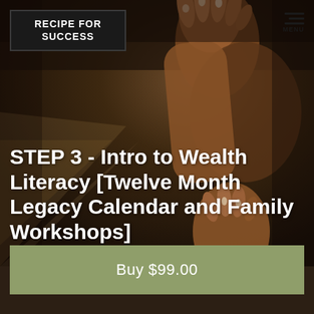[Figure (illustration): Dark oil painting of raised hands reaching upward, warm brown and dark tones, dramatic lighting]
RECIPE FOR SUCCESS
STEP 3 - Intro to Wealth Literacy [Twelve Month Legacy Calendar and Family Workshops]
Buy $99.00